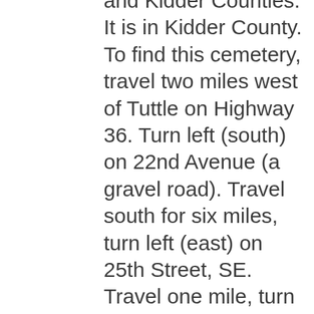and Kidder Counties. It is in Kidder County. To find this cemetery, travel two miles west of Tuttle on Highway 36. Turn left (south) on 22nd Avenue (a gravel road). Travel south for six miles, turn left (east) on 25th Street, SE. Travel one mile, turn right (south). Travel south about ½ mile, cemetery is on the left. At the time of our visit, there were power lines running east and west just north of the cemetery and there is a white frame